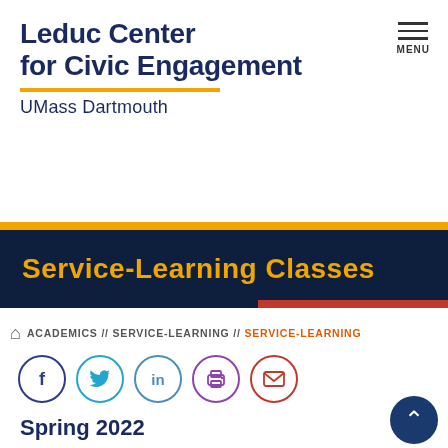Leduc Center for Civic Engagement
UMass Dartmouth
Service-Learning Classes
ACADEMICS // SERVICE-LEARNING // SERVICE-LEARNING
[Figure (infographic): Social sharing icons: Facebook, Twitter, LinkedIn, Print, Email]
Spring 2022
| Subject | Catalog | Section | Class | Title |
| --- | --- | --- | --- | --- |